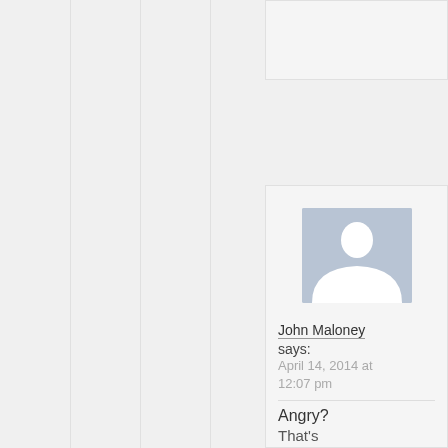[Figure (other): Partial top content card area (cropped at top of page)]
[Figure (other): User comment card with avatar silhouette placeholder image, commenter name 'John Maloney', date 'April 14, 2014 at 12:07 pm', and comment text beginning 'Angry? That's']
John Maloney says:
April 14, 2014 at 12:07 pm
Angry? That's